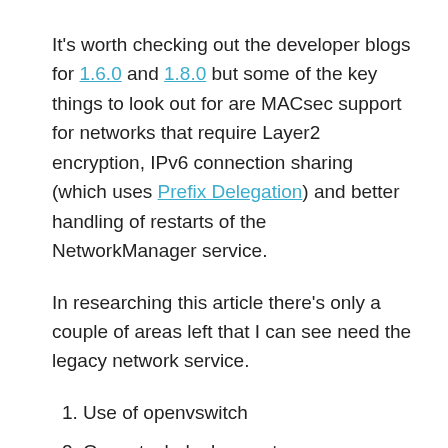It's worth checking out the developer blogs for 1.6.0 and 1.8.0 but some of the key things to look out for are MACsec support for networks that require Layer2 encryption, IPv6 connection sharing (which uses Prefix Delegation) and better handling of restarts of the NetworkManager service.
In researching this article there's only a couple of areas left that I can see need the legacy network service.
1. Use of openvswitch
2. Openstack deployments
Outside of this there's no reason to disable NetworkManager any longer.